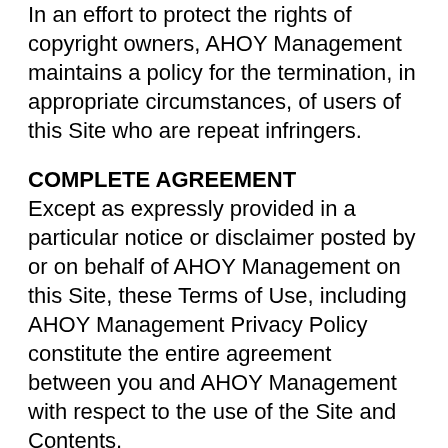In an effort to protect the rights of copyright owners, AHOY Management maintains a policy for the termination, in appropriate circumstances, of users of this Site who are repeat infringers.
COMPLETE AGREEMENT
Except as expressly provided in a particular notice or disclaimer posted by or on behalf of AHOY Management on this Site, these Terms of Use, including AHOY Management Privacy Policy constitute the entire agreement between you and AHOY Management with respect to the use of the Site and Contents.
TICKET TERMS & CONDITIONS
If you breach or do not fulfil any of your obligations of these Ticket Terms and Conditions and Entry Conditions, we retain the right to